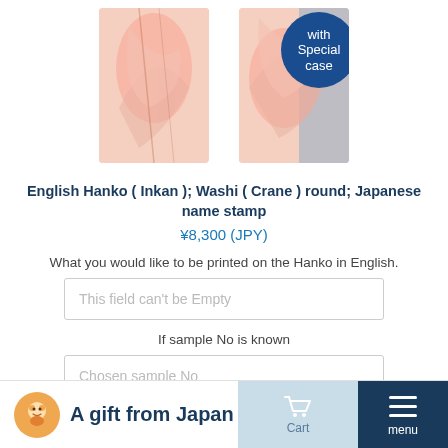[Figure (photo): Two product images of Japanese Hanko stamp with floral washi pattern; right image has a blue circular badge with 'with Special case' text]
English Hanko ( Inkan ); Washi ( Crane ) round; Japanese name stamp
¥8,300 (JPY)
What you would like to be printed on the Hanko in English.
This field can't be Empty
If sample No is known
Chosen sample No
1
Add to Cart
A gift from Japan  |  Cart  |  menu